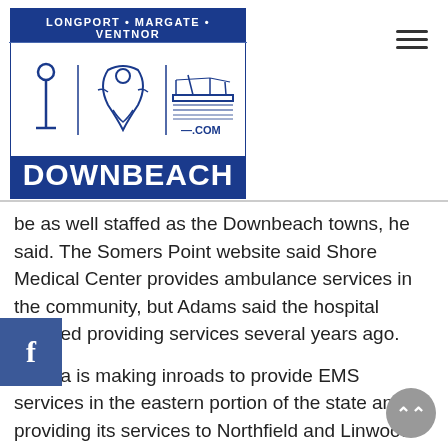[Figure (logo): Downbeach.com logo with text 'LONGPORT · MARGATE · VENTNOR' at top and 'DOWNBEACH' in large letters at bottom, blue and white color scheme with illustrated icons]
be as well staffed as the Downbeach towns, he said. The Somers Point website said Shore Medical Center provides ambulance services in the community, but Adams said the hospital stopped providing services several years ago.
Inspira is making inroads to provide EMS services in the eastern portion of the state and is providing its services to Northfield and Linwood. Pleasantville uses Tri-Care.
The only time Margate will be able to respond calls for mutual aid is when there is a primary ambulance unit available to cover Margate, he